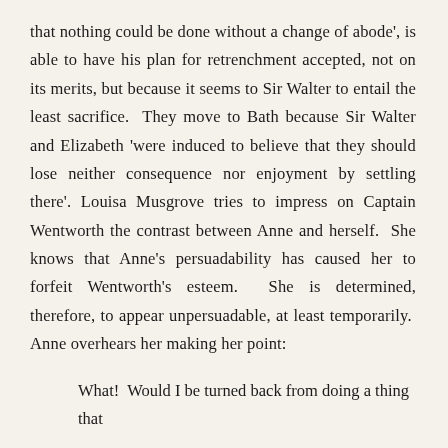that nothing could be done without a change of abode', is able to have his plan for retrenchment accepted, not on its merits, but because it seems to Sir Walter to entail the least sacrifice.  They move to Bath because Sir Walter and Elizabeth 'were induced to believe that they should lose neither consequence nor enjoyment by settling there'. Louisa Musgrove tries to impress on Captain Wentworth the contrast between Anne and herself.  She knows that Anne's persuadability has caused her to forfeit Wentworth's esteem.  She is determined, therefore, to appear unpersuadable, at least temporarily.  Anne overhears her making her point:
What!  Would I be turned back from doing a thing that